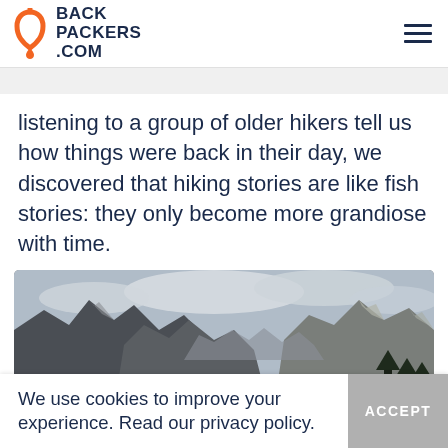BACK PACKERS .COM
listening to a group of older hikers tell us how things were back in their day, we discovered that hiking stories are like fish stories: they only become more grandiose with time.
[Figure (photo): Panoramic mountain valley landscape with rocky peaks, trees in foreground, and cloudy sky]
We use cookies to improve your experience. Read our privacy policy.